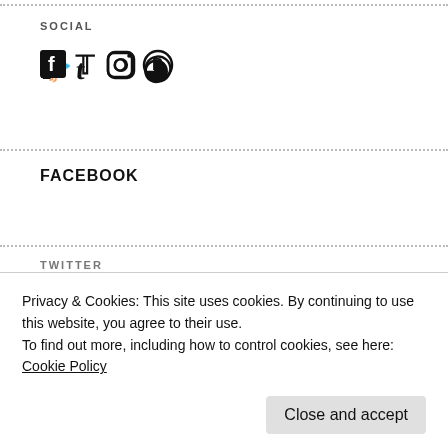SOCIAL
[Figure (other): Social media icons: Facebook, Twitter, Instagram, Pinterest]
FACEBOOK
TWITTER
[Figure (other): Twitter widget showing 'Tweets from' header with a Follow button]
Privacy & Cookies: This site uses cookies. By continuing to use this website, you agree to their use.
To find out more, including how to control cookies, see here: Cookie Policy
Close and accept